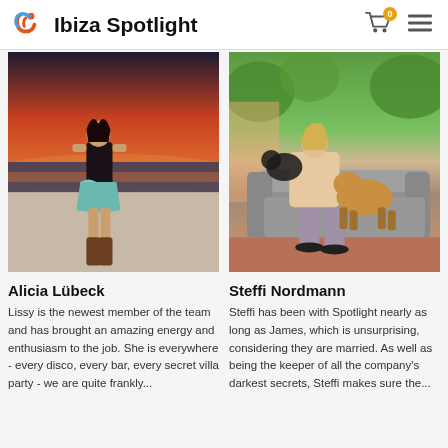Ibiza Spotlight
[Figure (photo): Photo of Alicia Lübeck standing outdoors at sunset in a black crop top, teal floral shorts, and tall brown cowboy boots]
[Figure (photo): Photo of Steffi Nordmann sitting on a grey sofa with two dogs, one black and one German Shepherd, in an outdoor setting]
Alicia Lübeck
Steffi Nordmann
Lissy is the newest member of the team and has brought an amazing energy and enthusiasm to the job. She is everywhere - every disco, every bar, every secret villa party - we are quite frankly...
Steffi has been with Spotlight nearly as long as James, which is unsurprising, considering they are married. As well as being the keeper of all the company's darkest secrets, Steffi makes sure the...